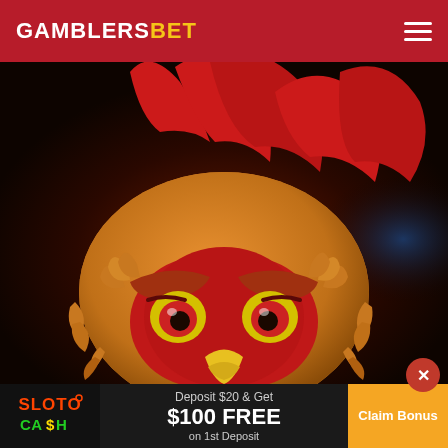GAMBLERSBET
[Figure (illustration): Close-up cartoon illustration of an angry rooster/cockerel character with red comb and wattle, orange/brown feathers, fierce yellow eyes with red irises, and a yellow beak. Dark fiery background.]
[Figure (infographic): Advertisement banner for Sloto Cash casino. Logo shows 'SLOTO CASH' in colorful text with dollar signs. Text reads: Deposit $20 & Get $100 FREE on 1st Deposit. Orange 'Claim Bonus' button on right.]